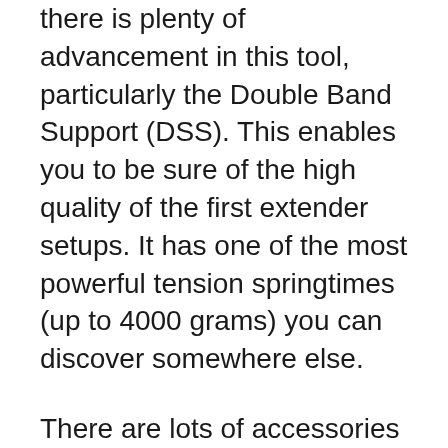there is plenty of advancement in this tool, particularly the Double Band Support (DSS). This enables you to be sure of the high quality of the first extender setups. It has one of the most powerful tension springtimes (up to 4000 grams) you can discover somewhere else.
There are lots of accessories consisted of in the premium plan, consisting of comfort memory pads, bars of various length, and added silicone tubes. The Deluxe plan( which I suggest to order) even features a penis pump. The tool is light-weight as well as practical to utilize.
It is very easy to purchase from the main website, and also it can be delivered rapidly